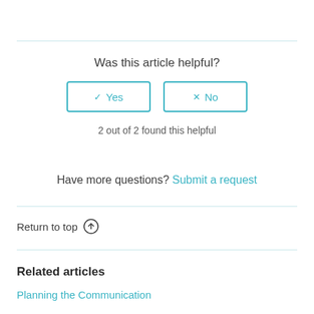Was this article helpful?
Yes / No buttons
2 out of 2 found this helpful
Have more questions? Submit a request
Return to top ↑
Related articles
Planning the Communication